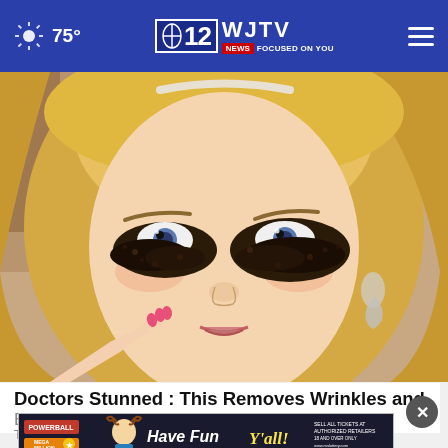75° | WJTV 12 NEWS FOCUSED ON YOU
[Figure (photo): A blonde woman with coffee grounds or dark granules applied under her eyes as a beauty treatment, touching her face with pink-painted fingernails, wearing a silver drop earring.]
Doctors Stunned : This Removes Wrinkles and Eye-bags Like Crazy (Try Tonight)
Trend
[Figure (infographic): Bottom advertisement banner featuring Powerball and Mega Millions lottery logos alongside a man in reindeer antlers with text 'Have Fun Y'all!' on a dark background with green stripe, for Mississippi Lottery.]